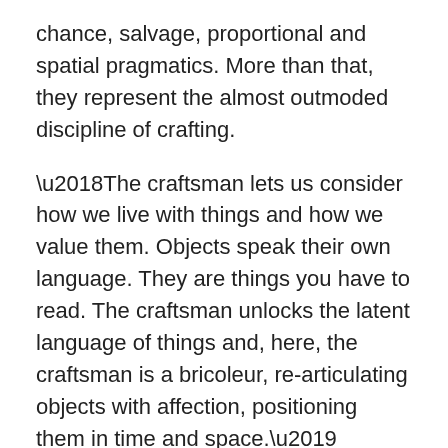chance, salvage, proportional and spatial pragmatics. More than that, they represent the almost outmoded discipline of crafting.
‘The craftsman lets us consider how we live with things and how we value them. Objects speak their own language. They are things you have to read. The craftsman unlocks the latent language of things and, here, the craftsman is a bricoleur, re-articulating objects with affection, positioning them in time and space.’ Caroline Stevenson, lecturer at London College of Fashion.
The pop-up has now ended (and everything was sold). But you can view new pieces and buy directly from the studio, here. Their next outing will be at the Car Boot Remade event at Kings Cross on the 16 & !7 April.